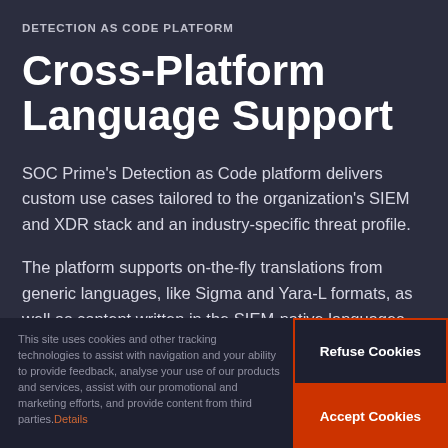DETECTION AS CODE PLATFORM
Cross-Platform Language Support
SOC Prime's Detection as Code platform delivers custom use cases tailored to the organization's SIEM and XDR stack and an industry-specific threat profile.
The platform supports on-the-fly translations from generic languages, like Sigma and Yara-L formats, as well as content written in the SIEM-native languages.
This site uses cookies and other tracking technologies to assist with navigation and your ability to provide feedback, analyse your use of our products and services, assist with our promotional and marketing efforts, and provide content from third parties. Details
Refuse Cookies
Accept Cookies